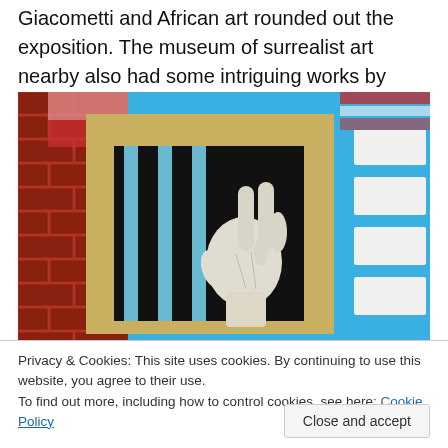Giacometti and African art rounded out the exposition. The museum of surrealist art nearby also had some intriguing works by artists such as Goya and Klee.
[Figure (photo): Photograph of a mural on a wall depicting a hand reaching through bars, with red brick visible on the left and blue sky in background.]
Privacy & Cookies: This site uses cookies. By continuing to use this website, you agree to their use.
To find out more, including how to control cookies, see here: Cookie Policy
Close and accept